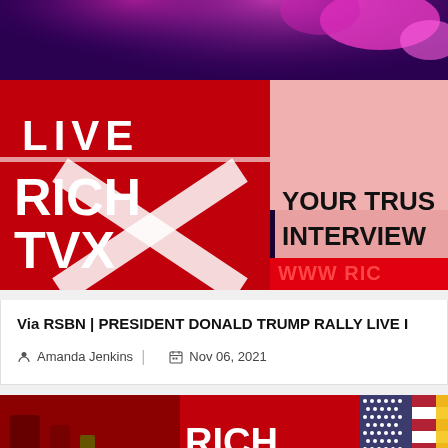[Figure (screenshot): Rich TVX News broadcast thumbnail showing 'LIVE RICH TVX' on red background with 'YOUR TRUSTED INTERVIEW' and 'WWW.RIC...' text, with glowing purple/pink lights at top]
Via RSBN | PRESIDENT DONALD TRUMP RALLY LIVE I
Amanda Jenkins | Nov 06, 2021
[Figure (screenshot): Rich TVX News broadcast thumbnail with 'RICH TVX NEWS' text on red background and American flag visible]